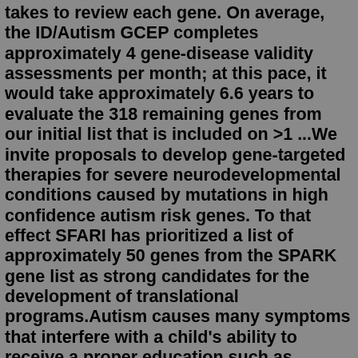takes to review each gene. On average, the ID/Autism GCEP completes approximately 4 gene-disease validity assessments per month; at this pace, it would take approximately 6.6 years to evaluate the 318 remaining genes from our initial list that is included on >1 ...We invite proposals to develop gene-targeted therapies for severe neurodevelopmental conditions caused by mutations in high confidence autism risk genes. To that effect SFARI has prioritized a list of approximately 50 genes from the SPARK gene list as strong candidates for the development of translational programs.Autism causes many symptoms that interfere with a child's ability to receive a proper education such as deficits in imitation, observational learning, and receptive and expressive communication. As of 2014, of all disabilities affecting the population, autism ranked third lowest in acceptance into a postsecondary education institution. Aug 18, 2022 · They used a statistical framework developed by members of the team called “TADA” to integrate these data. The team identified 72 genes that